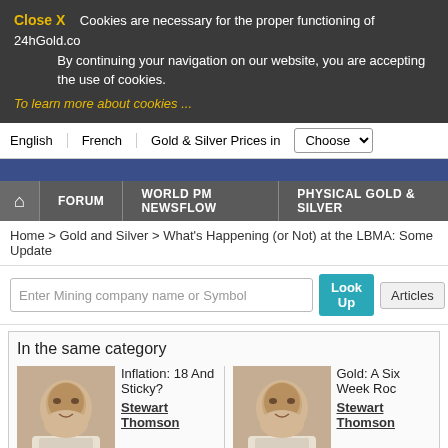Close X   Cookies are necessary for the proper functioning of 24hGold.com. By continuing your navigation on our website, you are accepting the use of cookies.
To learn more about cookies ...
English | French | Gold & Silver Prices in [Choose]
FORUM | WORLD PM NEWSFLOW | PHYSICAL GOLD & SILVER
Home > Gold and Silver > What's Happening (or Not) at the LBMA: Some Update
Enter Mining company name or Symbol  [Look Up] [Articles] [NewsFlow]
In the same category
Inflation: 18 And Sticky?
Stewart Thomson
Gold: A Six Week Roc
Stewart Thomson
What's Happening (or Not) at the L Some Updates